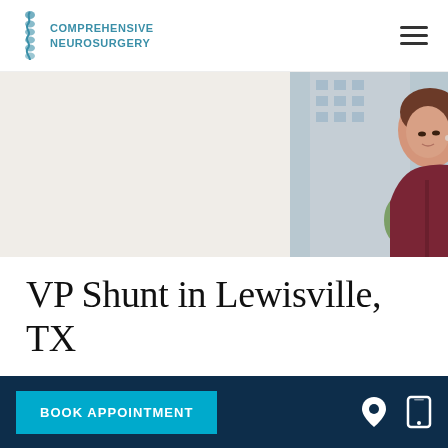Comprehensive Neurosurgery
[Figure (photo): A woman in a maroon hoodie looking upward outdoors, with a city building and green trees in the background. The image is cropped to show from shoulder level up.]
VP Shunt in Lewisville, TX
A ventriculoperitoneal (VP) shunt is a device implanted in the brain of a patient
BOOK APPOINTMENT